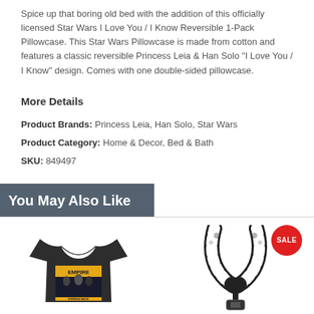Spice up that boring old bed with the addition of this officially licensed Star Wars I Love You / I Know Reversible 1-Pack Pillowcase. This Star Wars Pillowcase is made from cotton and features a classic reversible Princess Leia & Han Solo "I Love You / I Know" design. Comes with one double-sided pillowcase.
More Details
Product Brands: Princess Leia, Han Solo, Star Wars
Product Category: Home & Decor, Bed & Bath
SKU: 849497
You May Also Like
[Figure (photo): Dark gray v-neck Star Wars Empire t-shirt with graphic print]
[Figure (photo): Black and white patterned lanyard/keychain with buckle clasp; red SALE badge overlay]